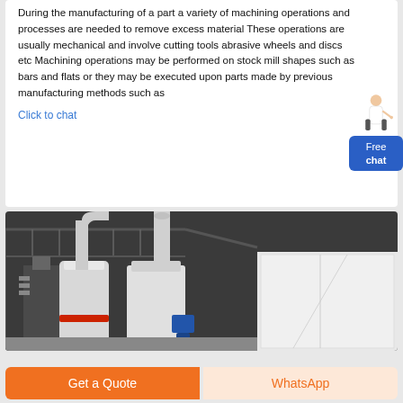During the manufacturing of a part a variety of machining operations and processes are needed to remove excess material These operations are usually mechanical and involve cutting tools abrasive wheels and discs etc Machining operations may be performed on stock mill shapes such as bars and flats or they may be executed upon parts made by previous manufacturing methods such as
Click to chat
[Figure (photo): Interior of an industrial factory or mill showing large white cylindrical machinery, pipes, ducts, and equipment under a dark metal roof structure.]
Get a Quote
WhatsApp